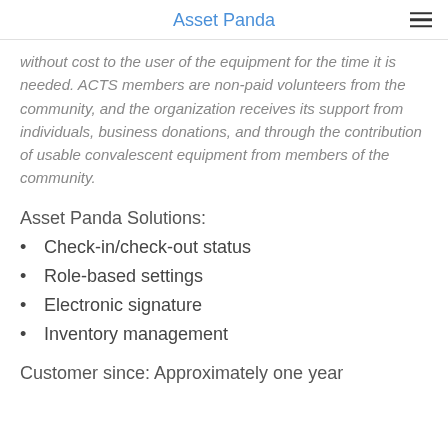Asset Panda
without cost to the user of the equipment for the time it is needed. ACTS members are non-paid volunteers from the community, and the organization receives its support from individuals, business donations, and through the contribution of usable convalescent equipment from members of the community.
Asset Panda Solutions:
Check-in/check-out status
Role-based settings
Electronic signature
Inventory management
Customer since: Approximately one year